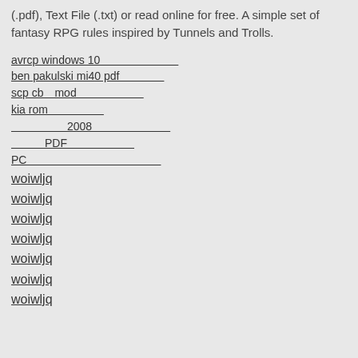(.pdf), Text File (.txt) or read online for free. A simple set of fantasy RPG rules inspired by Tunnels and Trolls.
avrcp windows 10
ben pakulski mi40 pdf
scp cb mod
kia rom
2008
PDF
PC
woiwljq
woiwljq
woiwljq
woiwljq
woiwljq
woiwljq
woiwljq